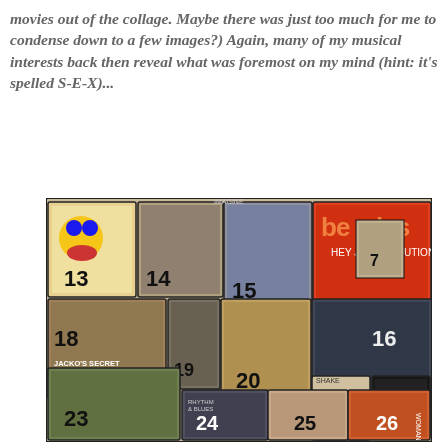movies out of the collage. Maybe there was just too much for me to condense down to a few images?) Again, many of my musical interests back then reveal what was foremost on my mind (hint: it's spelled S-E-X)...
[Figure (photo): A collage of numbered music album covers and images, numbered 13 through 26, including Beatles albums, Michael Jackson, Rhythm & Blues, and other music-related images arranged in an overlapping mosaic pattern.]